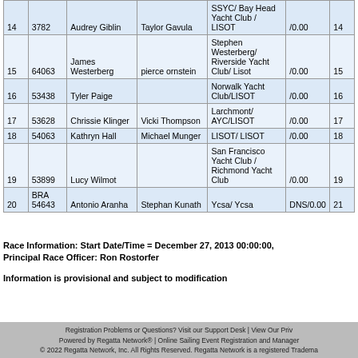|  |  |  |  |  |  |  |
| --- | --- | --- | --- | --- | --- | --- |
| 14 | 3782 | Audrey Giblin | Taylor Gavula | SSYC/ Bay Head Yacht Club / LISOT | /0.00 | 14 |
| 15 | 64063 | James Westerberg | pierce ornstein | Stephen Westerberg/ Riverside Yacht Club/ Lisot | /0.00 | 15 |
| 16 | 53438 | Tyler Paige |  | Norwalk Yacht Club/LISOT | /0.00 | 16 |
| 17 | 53628 | Chrissie Klinger | Vicki Thompson | Larchmont/ AYC/LISOT | /0.00 | 17 |
| 18 | 54063 | Kathryn Hall | Michael Munger | LISOT/ LISOT | /0.00 | 18 |
| 19 | 53899 | Lucy Wilmot |  | San Francisco Yacht Club / Richmond Yacht Club | /0.00 | 19 |
| 20 | BRA 54643 | Antonio Aranha | Stephan Kunath | Ycsa/ Ycsa | DNS/0.00 | 21 |
Race Information: Start Date/Time = December 27, 2013 00:00:00, Principal Race Officer: Ron Rostorfer
Information is provisional and subject to modification
Registration Problems or Questions? Visit our Support Desk | View Our Priv... Powered by Regatta Network® | Online Sailing Event Registration and Manager... © 2022 Regatta Network, Inc. All Rights Reserved. Regatta Network is a registered Tradema...